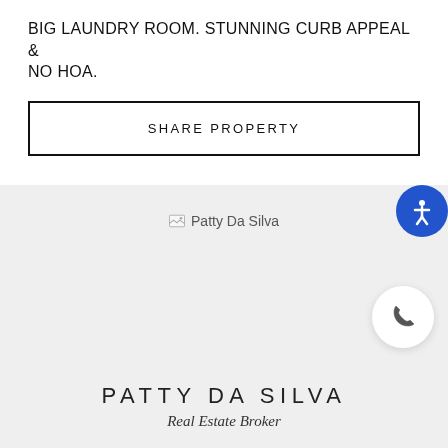BIG LAUNDRY ROOM. STUNNING CURB APPEAL & NO HOA.
SHARE PROPERTY
[Figure (photo): Broken image placeholder for Patty Da Silva agent photo]
[Figure (other): Accessibility icon button (blue circle with person symbol)]
[Figure (other): Phone call button (white circle with phone icon)]
PATTY DA SILVA
Real Estate Broker